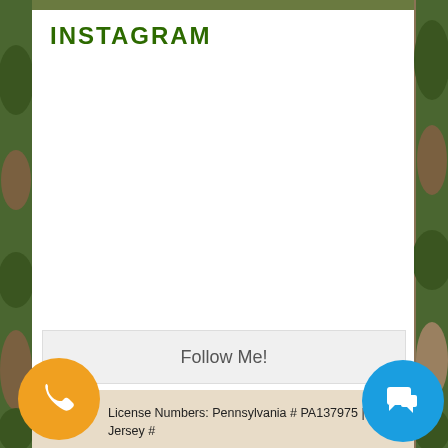INSTAGRAM
Follow Me!
License Numbers: Pennsylvania # PA137975 | New Jersey #